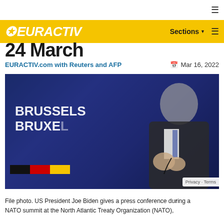EURACTIV — Sections — navigation bar
24 March
EURACTIV.com with Reuters and AFP — Mar 16, 2022
[Figure (photo): File photo of US President Joe Biden giving a press conference at a NATO summit at the North Atlantic Treaty Organization (NATO), with Brussels/Bruxelles signage visible in background.]
File photo. US President Joe Biden gives a press conference during a NATO summit at the North Atlantic Treaty Organization (NATO),